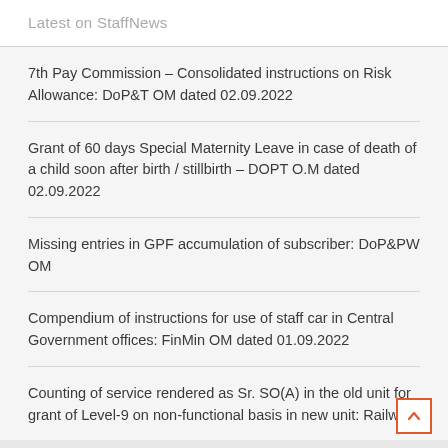Latest on StaffNews
7th Pay Commission – Consolidated instructions on Risk Allowance: DoP&T OM dated 02.09.2022
Grant of 60 days Special Maternity Leave in case of death of a child soon after birth / stillbirth – DOPT O.M dated 02.09.2022
Missing entries in GPF accumulation of subscriber: DoP&PW OM
Compendium of instructions for use of staff car in Central Government offices: FinMin OM dated 01.09.2022
Counting of service rendered as Sr. SO(A) in the old unit for grant of Level-9 on non-functional basis in new unit: Railway